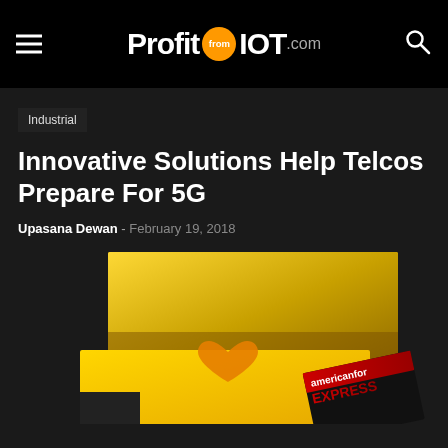Profit from IOT .com
Industrial
Innovative Solutions Help Telcos Prepare For 5G
Upasana Dewan - February 19, 2018
[Figure (photo): Yellow/gold gradient background image with an orange heart shape and an Express magazine/card visible in the lower right, partially cropped]